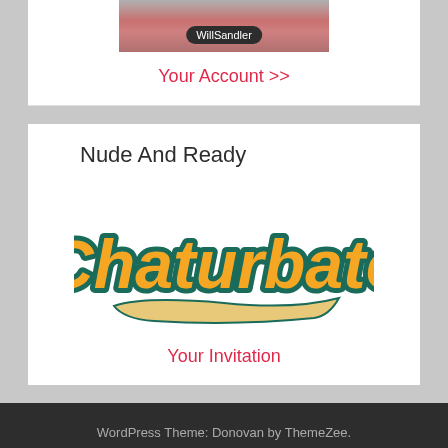[Figure (photo): Partial image of a person with a dark overlay badge showing username 'WillSandler']
Your Account >>
Nude And Ready
[Figure (logo): Chaturbate logo — orange and teal script lettering with underline swash]
Your Invitation
WordPress Theme: Donovan by ThemeZee.